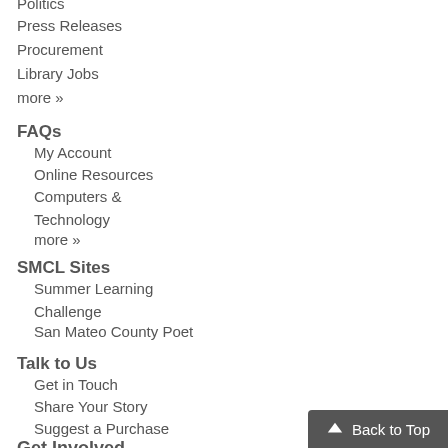Politics
Press Releases
Procurement
Library Jobs
more »
FAQs
My Account
Online Resources
Computers & Technology
more »
SMCL Sites
Summer Learning Challenge
San Mateo County Poet
Talk to Us
Get in Touch
Share Your Story
Suggest a Purchase
Get Involved
Back to Top